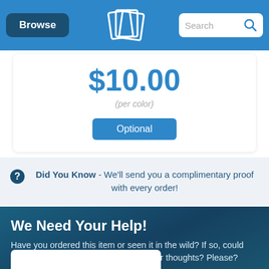Browse | [logo] | Search
$10.00
(per color)
Optional
Did You Know - We'll send you a complimentary proof with every order!
We Need Your Help!
Have you ordered this item or seen it in the wild? If so, could you do everyone a solid and share your thoughts? Please? Pretty please?